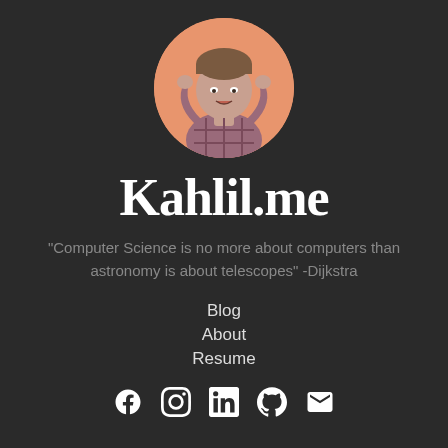[Figure (photo): Circular profile photo of a young man with hands raised, wearing a plaid shirt, on an orange background]
Kahlil.me
"Computer Science is no more about computers than astronomy is about telescopes" -Dijkstra
Blog
About
Resume
[Figure (illustration): Social media icons row: Facebook, Instagram, LinkedIn, GitHub, Email]